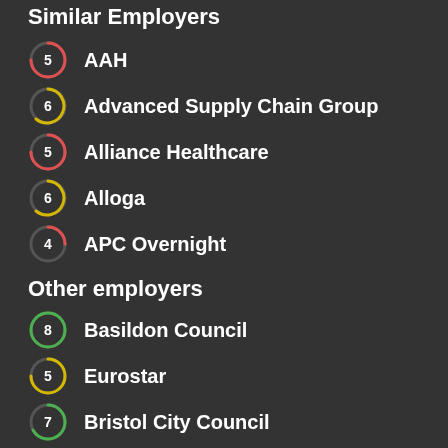Similar Employers
5  AAH
6  Advanced Supply Chain Group
5  Alliance Healthcare
6  Alloga
4  APC Overnight
Other employers
8  Basildon Council
5  Eurostar
7  Bristol City Council
6  SGN
8  University Of Sussex